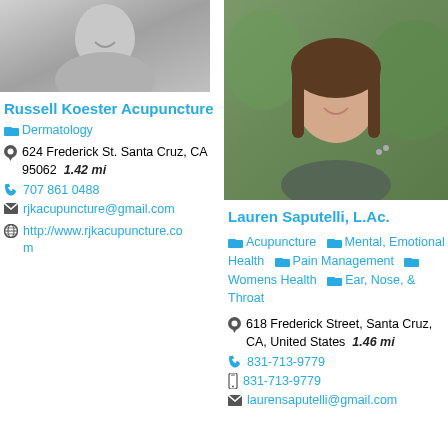[Figure (photo): Black and white photo of Russell Koester, smiling man in light jacket]
Russell Koester Acupuncture
Dermatology
624 Frederick St. Santa Cruz, CA 95062  1.42 mi
707 861 0488
rjkacupuncture@gmail.com
http://www.rjkacupuncture.com
[Figure (photo): Color photo of Lauren Saputelli, woman with brown hair smiling outdoors]
Lauren Saputelli, L.Ac.
Acupuncture  Mental, Emotional Health  Pain Management  Womens Health  Ear, Nose, & Throat
618 Frederick Street, Santa Cruz, CA, United States  1.46 mi
831-713-9779
831-713-9779
laurensaputelli@gmail.com